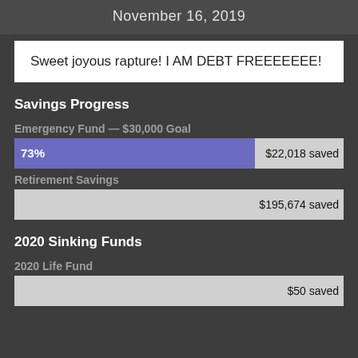November 16, 2019
Sweet joyous rapture! I AM DEBT FREEEEEEE!
Savings Progress
Emergency Fund — $30,000 Goal
[Figure (bar-chart): Emergency Fund]
Retirement Savings
[Figure (bar-chart): Retirement Savings]
2020 Sinking Funds
2020 Life Fund
[Figure (bar-chart): 2020 Life Fund]